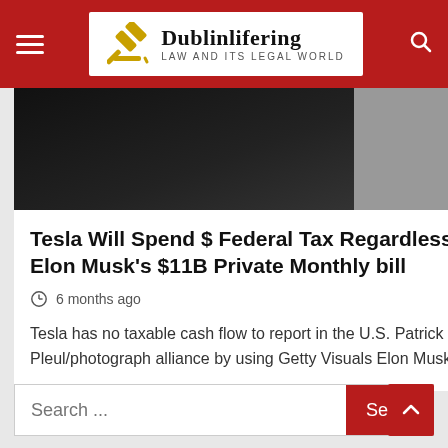Dublinlifering — Law and its legal world
[Figure (screenshot): Dark photo of a person, partially visible, forming the top portion of an article card]
Tesla Will Spend $ Federal Tax Regardless of Elon Musk's $11B Private Monthly bill
6 months ago
Tesla has no taxable cash flow to report in the U.S. Patrick Pleul/photograph alliance by using Getty Visuals Elon Musk...